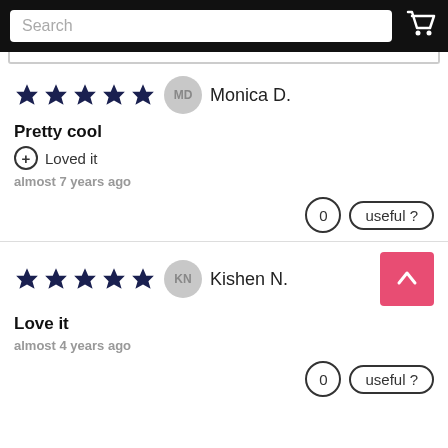Search
Pretty cool
Loved it
almost 7 years ago
0  useful?
Love it
almost 4 years ago
0  useful?